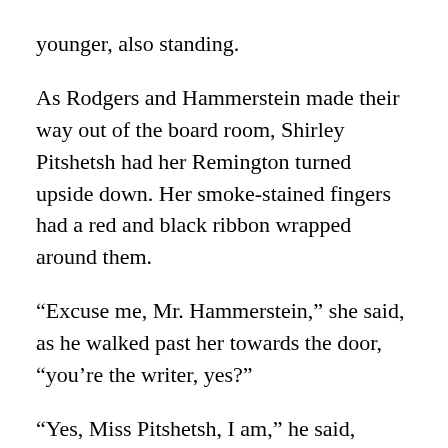younger, also standing.
As Rodgers and Hammerstein made their way out of the board room, Shirley Pitshetsh had her Remington turned upside down. Her smoke-stained fingers had a red and black ribbon wrapped around them.
“Excuse me, Mr. Hammerstein,” she said, as he walked past her towards the door, “you’re the writer, yes?”
“Yes, Miss Pitshetsh, I am,” he said, looking at Rogers, smiling. “You know my work?” he asked, coming towards her.
“Yes, yes, wonderful. I love the one with the